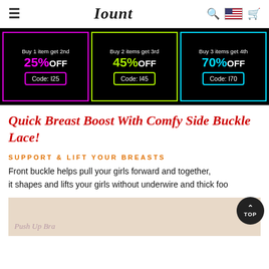Iount
[Figure (infographic): Promotional banner with three discount offers on black background: Buy 1 item get 2nd 25% OFF Code: I25 (pink/magenta border), Buy 2 items get 3rd 45% OFF Code: I45 (neon green border), Buy 3 items get 4th 70% OFF Code: I70 (cyan border)]
Quick Breast Boost With Comfy Side Buckle Lace!
SUPPORT & LIFT YOUR BREASTS
Front buckle helps pull your girls forward and together, it shapes and lifts your girls without underwire and thick foo...
[Figure (photo): Product photo showing a beige Push Up Bra with floral lace detail and text overlay reading 'Push Up Bra']